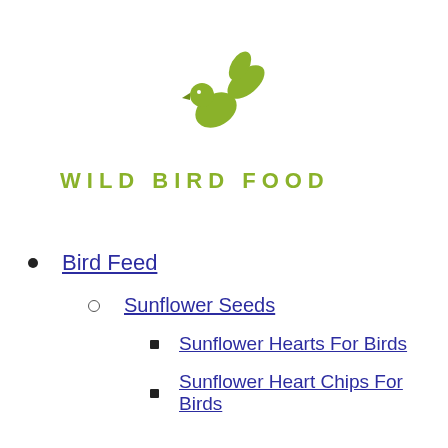[Figure (logo): Green bird/leaf logo icon for Wild Bird Food brand]
WILD BIRD FOOD
Bird Feed
Sunflower Seeds
Sunflower Hearts For Birds
Sunflower Heart Chips For Birds